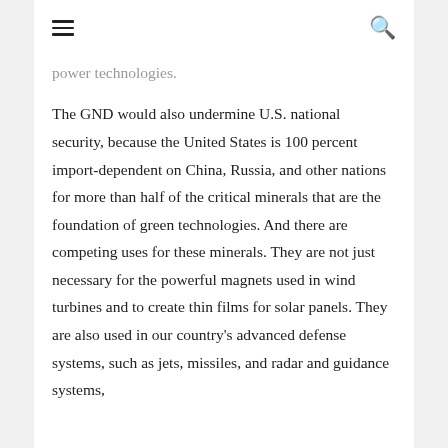≡  🔍
power technologies.
The GND would also undermine U.S. national security, because the United States is 100 percent import-dependent on China, Russia, and other nations for more than half of the critical minerals that are the foundation of green technologies. And there are competing uses for these minerals. They are not just necessary for the powerful magnets used in wind turbines and to create thin films for solar panels. They are also used in our country's advanced defense systems, such as jets, missiles, and radar and guidance systems,